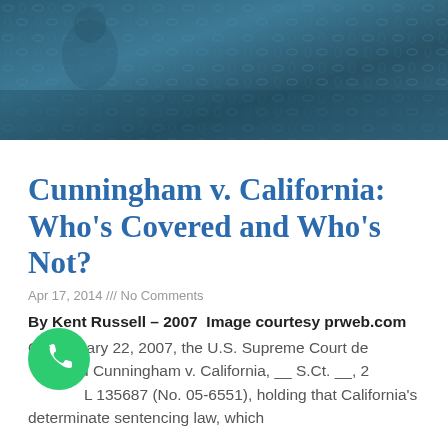[Figure (photo): Dark teal/blue hero banner image showing a textured rope or net pattern in the background, used as a decorative header image for the article.]
Cunningham v. California: Who's Covered and Who's Not?
Apr 17, 2014 /// No Comments
By Kent Russell – 2007  Image courtesy prweb.com
On January 22, 2007, the U.S. Supreme Court decided Cunningham v. California, __ S.Ct. __, 2007 WL 135687 (No. 05-6551), holding that California's determinate sentencing law, which